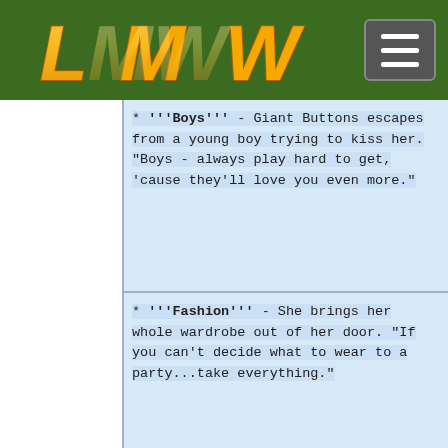[Figure (logo): LMW logo with golden stylized letters on dark green navigation bar]
* '''Boys''' - Giant Buttons escapes from a young boy trying to kiss her. "Boys - always play hard to get, 'cause they'll love you even more."
* '''Fashion''' - She brings her whole wardrobe out of her door. "If you can't decide what to wear to a party...take everything."
+
==Discovery==
* April 7, 2010